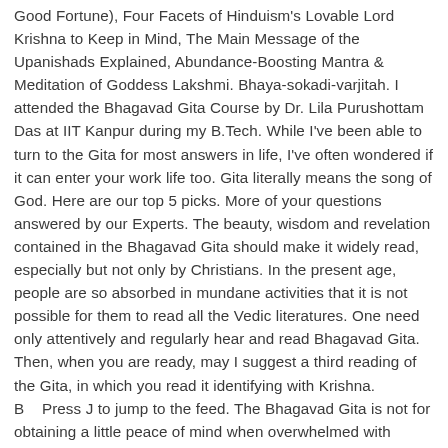Good Fortune), Four Facets of Hinduism's Lovable Lord Krishna to Keep in Mind, The Main Message of the Upanishads Explained, Abundance-Boosting Mantra & Meditation of Goddess Lakshmi. Bhaya-sokadi-varjitah. I attended the Bhagavad Gita Course by Dr. Lila Purushottam Das at IIT Kanpur during my B.Tech. While I've been able to turn to the Gita for most answers in life, I've often wondered if it can enter your work life too. Gita literally means the song of God. Here are our top 5 picks. More of your questions answered by our Experts. The beauty, wisdom and revelation contained in the Bhagavad Gita should make it widely read, especially but not only by Christians. In the present age, people are so absorbed in mundane activities that it is not possible for them to read all the Vedic literatures. One need only attentively and regularly hear and read Bhagavad Gita. Then, when you are ready, may I suggest a third reading of the Gita, in which you read it identifying with Krishna. B    Press J to jump to the feed. The Bhagavad Gita is not for obtaining a little peace of mind when overwhelmed with miseries. 1. Which version of the Bhagavad Gita should I read? What do you think is the best version for me? Mitchell has made a name for himself as one of America's most talented translators of spiritual literature. There is no better management programme in decision-making than the Gita. To browse Course Familiar Search engine, The above said that it is...